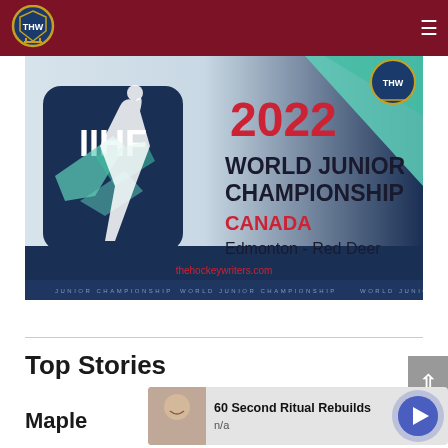The Hockey Writers (THW) - navigation header with hamburger menu
[Figure (illustration): IIHF 2022 World Junior Championship Canada promotional banner. Shows IIHF logo on dark navy background with stylized hockey player silhouette, geometric teal/mint shapes. Text reads: IIHF, 2022 (in red), WORLD JUNIOR CHAMPIONSHIP (bold black), CANADA (in red), Edmonton - Red Deer. THW logo in top right corner. Bottom strip reads: JUNIOR CHAMPIONSHIP  WORLD JUNIOR CHAMPIONSHIP  WORLD JUNIOR CHAMPI. Website: thehockeywriters.com]
Top Stories
Maple
[Figure (infographic): Advertisement overlay: person smiling photo on left, text '60 Second Ritual Rebuilds' with 'n/a' subtitle, blue circular play button on right with concentric rings background]